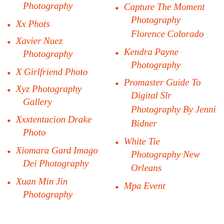Photography
Xx Phots
Xavier Nuez Photography
X Girlfriend Photo
Xyz Photography Gallery
Xxxtentacion Drake Photo
Xiomara Gard Imago Dei Photography
Xuan Min Jin Photography
Capture The Moment Photography
Florence Colorado
Kendra Payne Photography
Promaster Guide To Digital Slr Photography By Jenni Bidner
White Tie Photography New Orleans
Mpa Event